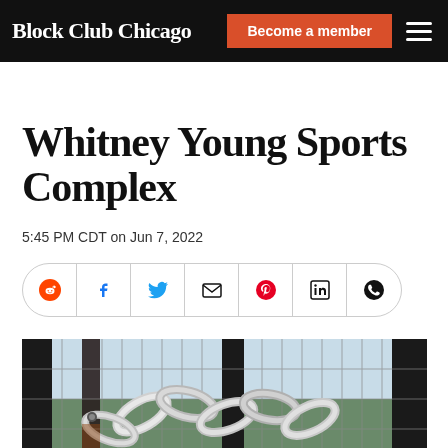Block Club Chicago | Become a member
Whitney Young Sports Complex
5:45 PM CDT on Jun 7, 2022
[Figure (other): Social share icons: Reddit, Facebook, Twitter, Email, Pinterest, LinkedIn, WhatsApp]
[Figure (photo): Close-up photograph of a chain and lock on a chain-link fence gate, with a blurred outdoor background]